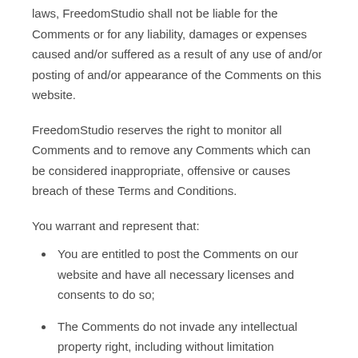laws, FreedomStudio shall not be liable for the Comments or for any liability, damages or expenses caused and/or suffered as a result of any use of and/or posting of and/or appearance of the Comments on this website.
FreedomStudio reserves the right to monitor all Comments and to remove any Comments which can be considered inappropriate, offensive or causes breach of these Terms and Conditions.
You warrant and represent that:
You are entitled to post the Comments on our website and have all necessary licenses and consents to do so;
The Comments do not invade any intellectual property right, including without limitation copyright, patent or trademark of any third party;
The Comments do not contain any defamatory, libelous, offensive, indecent or otherwise unlawful material which is